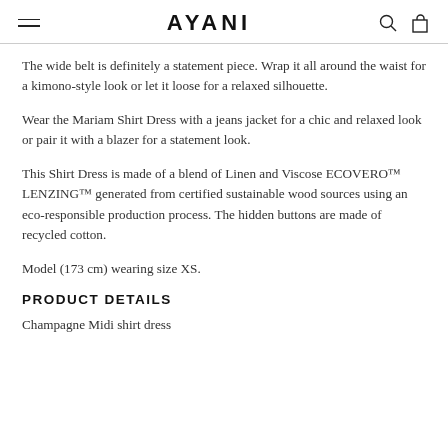AYANI
The wide belt is definitely a statement piece. Wrap it all around the waist for a kimono-style look or let it loose for a relaxed silhouette.
Wear the Mariam Shirt Dress with a jeans jacket for a chic and relaxed look or pair it with a blazer for a statement look.
This Shirt Dress is made of a blend of Linen and Viscose ECOVERO™ LENZING™ generated from certified sustainable wood sources using an eco-responsible production process. The hidden buttons are made of recycled cotton.
Model (173 cm) wearing size XS.
PRODUCT DETAILS
Champagne Midi shirt dress